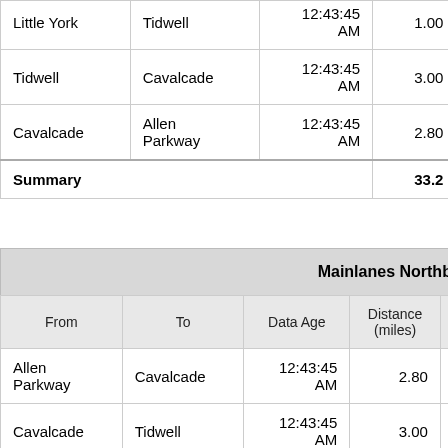| From | To | Data Age | Distance (miles) | Link Travel Time(m:ss) |
| --- | --- | --- | --- | --- |
| Little York | Tidwell | 12:43:45 AM | 1.00 | 1:1… |
| Tidwell | Cavalcade | 12:43:45 AM | 3.00 | 2:4… |
| Cavalcade | Allen Parkway | 12:43:45 AM | 2.80 | 3:0… |
| Summary |  |  | 33.2 | 21:1… |
| From | To | Data Age | Distance (miles) | Link Travel Time(m:ss) |
| --- | --- | --- | --- | --- |
| Allen Parkway | Cavalcade | 12:43:45 AM | 2.80 | 2:3… |
| Cavalcade | Tidwell | 12:43:45 AM | 3.00 | 2:4… |
| Tidwell | Little York | 12:43:45 AM | 1.90 | 1:4… |